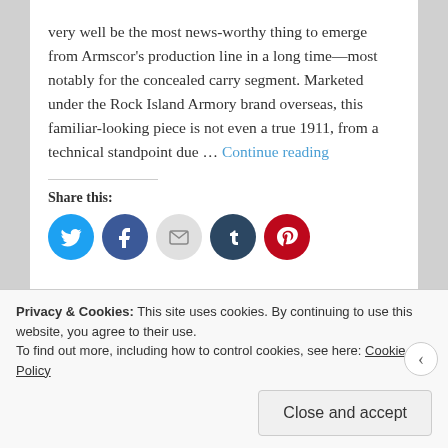very well be the most news-worthy thing to emerge from Armscor's production line in a long time—most notably for the concealed carry segment. Marketed under the Rock Island Armory brand overseas, this familiar-looking piece is not even a true 1911, from a technical standpoint due … Continue reading
Share this:
[Figure (infographic): Social share buttons: Twitter (blue circle), Facebook (dark blue circle), Email (gray circle), Tumblr (dark navy circle), Pinterest (red circle)]
Privacy & Cookies: This site uses cookies. By continuing to use this website, you agree to their use. To find out more, including how to control cookies, see here: Cookie Policy
Close and accept